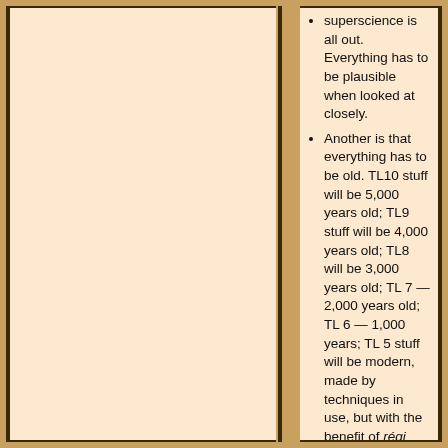superscience is all out. Everything has to be plausible when looked at closely.
Another is that everything has to be old. TL10 stuff will be 5,000 years old; TL9 stuff will be 4,000 years old; TL8 will be 3,000 years old; TL 7 — 2,000 years old; TL 6 — 1,000 years; TL 5 stuff will be modern, made by techniques in use, but with the benefit of régi lágy termékek: legacy biotech materials. For example we might get muzzle-loading firearms with composite barrels, using a propellant that grows on trees to fire poison darts that grow on bushes.
That means that any hard tech with moving parts is going to have